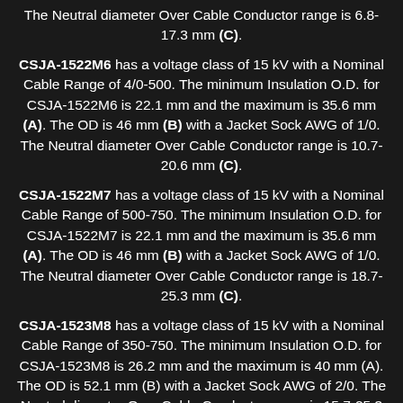The Neutral diameter Over Cable Conductor range is 6.8-17.3 mm (C).
CSJA-1522M6 has a voltage class of 15 kV with a Nominal Cable Range of 4/0-500. The minimum Insulation O.D. for CSJA-1522M6 is 22.1 mm and the maximum is 35.6 mm (A). The OD is 46 mm (B) with a Jacket Sock AWG of 1/0. The Neutral diameter Over Cable Conductor range is 10.7-20.6 mm (C).
CSJA-1522M7 has a voltage class of 15 kV with a Nominal Cable Range of 500-750. The minimum Insulation O.D. for CSJA-1522M7 is 22.1 mm and the maximum is 35.6 mm (A). The OD is 46 mm (B) with a Jacket Sock AWG of 1/0. The Neutral diameter Over Cable Conductor range is 18.7-25.3 mm (C).
CSJA-1523M8 has a voltage class of 15 kV with a Nominal Cable Range of 350-750. The minimum Insulation O.D. for CSJA-1523M8 is 26.2 mm and the maximum is 40 mm (A). The OD is 52.1 mm (B) with a Jacket Sock AWG of 2/0. The Neutral diameter Over Cable Conductor range is 15.7-25.3